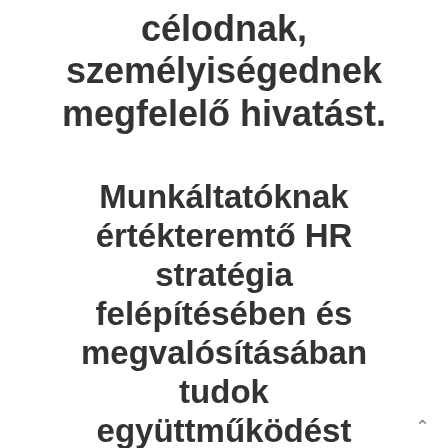célodnak, személyiségednek megfelelő hivatást.
Munkáltatóknak értékteremtő HR stratégia felépítésében és megvalósításában tudok együttműködést nyújtani.